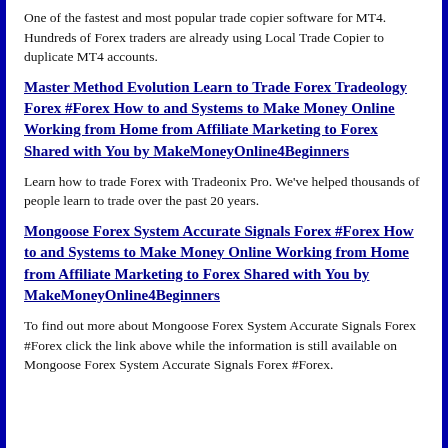One of the fastest and most popular trade copier software for MT4. Hundreds of Forex traders are already using Local Trade Copier to duplicate MT4 accounts.
Master Method Evolution Learn to Trade Forex Tradeology Forex #Forex How to and Systems to Make Money Online Working from Home from Affiliate Marketing to Forex Shared with You by MakeMoneyOnline4Beginners
Learn how to trade Forex with Tradeonix Pro. We've helped thousands of people learn to trade over the past 20 years.
Mongoose Forex System Accurate Signals Forex #Forex How to and Systems to Make Money Online Working from Home from Affiliate Marketing to Forex Shared with You by MakeMoneyOnline4Beginners
To find out more about Mongoose Forex System Accurate Signals Forex #Forex click the link above while the information is still available on Mongoose Forex System Accurate Signals Forex #Forex.